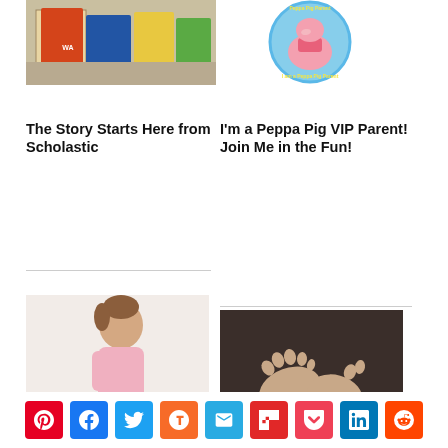[Figure (photo): Books and board games on a wooden table — Scholastic products]
[Figure (photo): Peppa Pig circular logo/badge — 'I am a Peppa Pig Parent' sticker in blue with yellow text]
The Story Starts Here from Scholastic
I'm a Peppa Pig VIP Parent! Join Me in the Fun!
[Figure (photo): Young toddler in pink shirt leaning forward]
[Figure (photo): Close-up of newborn baby feet on dark background]